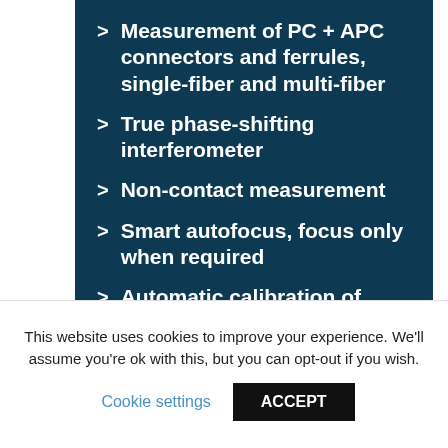Measurement of PC + APC connectors and ferrules, single-fiber and multi-fiber
True phase-shifting interferometer
Non-contact measurement
Smart autofocus, focus only when required
Automatic calibration of reference mirror
Supports MT-16 and MT-12 (DAFFI MT16 or DAFFI MT12), up to 6 rows
Vibration insensitive
This website uses cookies to improve your experience. We'll assume you're ok with this, but you can opt-out if you wish.
Cookie settings   ACCEPT